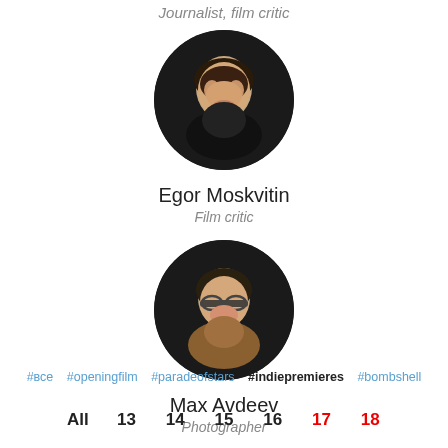Journalist, film critic
[Figure (photo): Circular profile photo of Egor Moskvitin, a young man smiling, dark background]
Egor Moskvitin
Film critic
[Figure (photo): Circular profile photo of Max Avdeev, a man with glasses smiling, wearing brown top, dark background]
Max Avdeev
Photographer
#все #openingfilm #paradeofstars #indiepremieres #bombshell
All 13 14 15 16 17 18